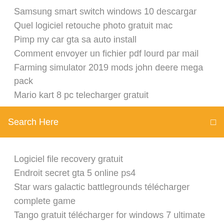Samsung smart switch windows 10 descargar
Quel logiciel retouche photo gratuit mac
Pimp my car gta sa auto install
Comment envoyer un fichier pdf lourd par mail
Farming simulator 2019 mods john deere mega pack
Mario kart 8 pc telecharger gratuit
[Figure (other): Orange search bar with text 'Search Here' and a search icon]
(truncated item)
Logiciel file recovery gratuit
Endroit secret gta 5 online ps4
Star wars galactic battlegrounds télécharger complete game
Tango gratuit télécharger for windows 7 ultimate
Jouer a minecraft sur pc sans telechargement
League of angels paradise land facebook
Paint logiciel de dessin gratuit
Canon raw cr3 codec windows 10
Logiciel photo didentité gratuit en francais